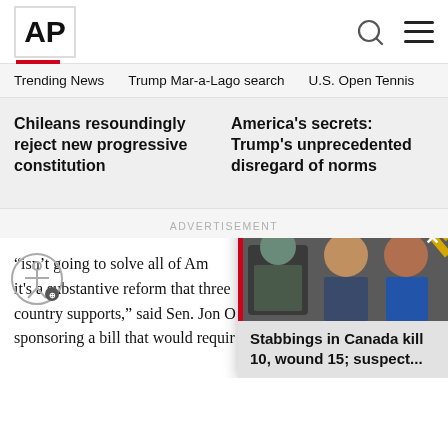AP
Trending News
Trump Mar-a-Lago search
U.S. Open Tennis
Chileans resoundingly reject new progressive constitution
America's secrets: Trump's unprecedented disregard of norms
ADVERTISEMENT
“isn’t going to solve all of Am it's a substantive reform that three country supports,” said Sen. Jon O sponsoring a bill that would requir
[Figure (screenshot): Popup news overlay showing photo of two men and headline: Stabbings in Canada kill 10, wound 15; suspect...]